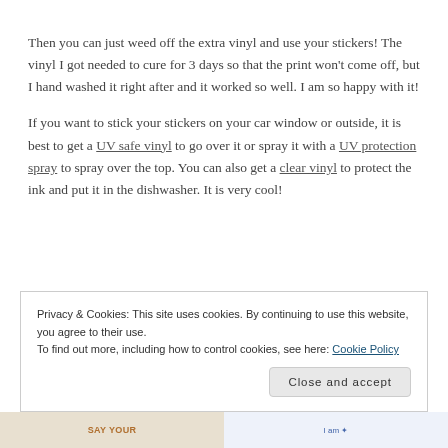Then you can just weed off the extra vinyl and use your stickers! The vinyl I got needed to cure for 3 days so that the print won't come off, but I hand washed it right after and it worked so well. I am so happy with it!
If you want to stick your stickers on your car window or outside, it is best to get a UV safe vinyl to go over it or spray it with a UV protection spray to spray over the top. You can also get a clear vinyl to protect the ink and put it in the dishwasher. It is very cool!
The sticker sti... and it ... stickers for...
Privacy & Cookies: This site uses cookies. By continuing to use this website, you agree to their use.
To find out more, including how to control cookies, see here: Cookie Policy
Close and accept